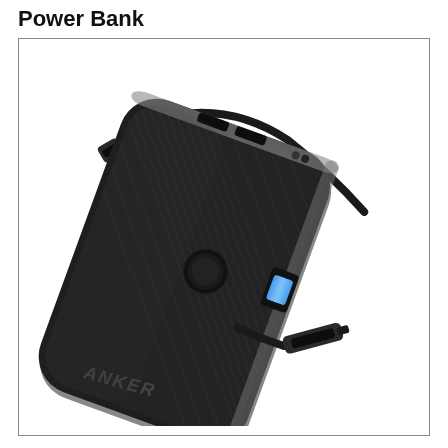Power Bank
[Figure (photo): Anker Power Bank (black, rectangular with rounded corners and textured surface) shown at an angle with a USB-C cable attached. A separate USB-C connector is shown in the lower right. The Anker logo is visible on the device.]